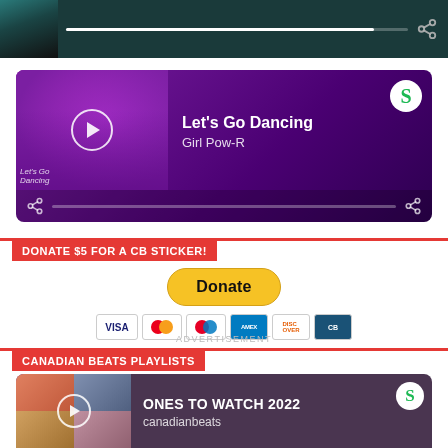[Figure (screenshot): Partial Spotify embedded player (top strip), dark teal, showing a progress bar and share icon]
[Figure (screenshot): Spotify embedded player for 'Let's Go Dancing' by Girl Pow-R, purple gradient background, play button, Spotify logo, progress bar and share icon]
DONATE $5 FOR A CB STICKER!
[Figure (screenshot): PayPal Donate button (yellow rounded rectangle) with payment card icons below: Visa, Mastercard, Maestro, American Express, Discover, and one more card]
ADVERTISEMENT
CANADIAN BEATS PLAYLISTS
[Figure (screenshot): Spotify embedded playlist player for 'ONES TO WATCH 2022' by canadianbeats, purple/mauve background, album grid art, play button, skip controls, progress bar and share icon]